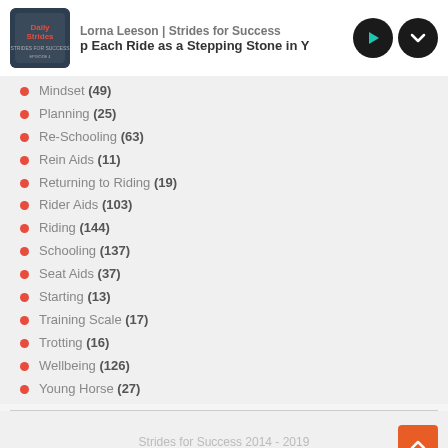Lorna Leeson | Strides for Success
p Each Ride as a Stepping Stone in Y
Mindset (49)
Planning (25)
Re-Schooling (63)
Rein Aids (11)
Returning to Riding (19)
Rider Aids (103)
Riding (144)
Schooling (137)
Seat Aids (37)
Starting (13)
Training Scale (17)
Trotting (16)
Wellbeing (126)
Young Horse (27)
Strides for Success 2014 - 2019